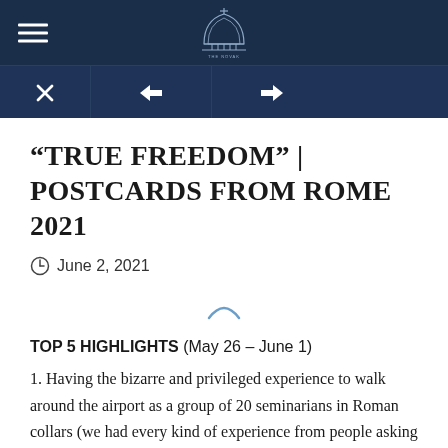Navigation header with hamburger menu, dome logo, and X/back/forward navigation buttons
“TRUE FREEDOM” | POSTCARDS FROM ROME 2021
June 2, 2021
[Figure (other): Loading spinner arc icon]
TOP 5 HIGHLIGHTS (May 26 – June 1)
1. Having the bizarre and privileged experience to walk around the airport as a group of 20 seminarians in Roman collars (we had every kind of experience from people asking us for confession to passers-by snickering “Jesus is not real”